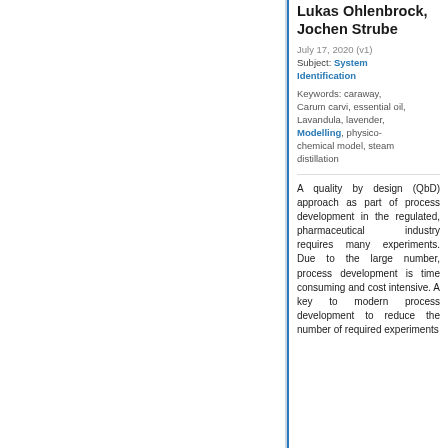Lukas Ohlenbrock, Jochen Strube
July 17, 2020 (v1)
Subject: System Identification
Keywords: caraway, Carum carvi, essential oil, Lavandula, lavender, Modelling, physico-chemical model, steam distillation
A quality by design (QbD) approach as part of process development in the regulated, pharmaceutical industry requires many experiments. Due to the large number, process development is time consuming and cost intensive. A key to modern process development to reduce the number of required experiments